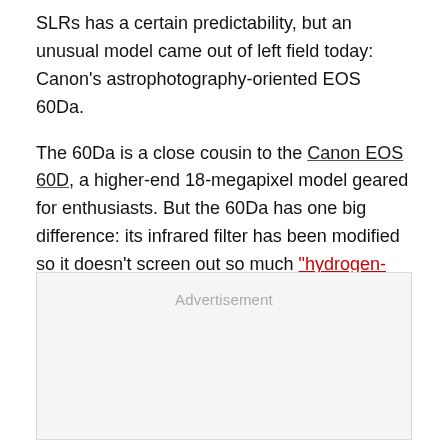SLRs has a certain predictability, but an unusual model came out of left field today: Canon's astrophotography-oriented EOS 60Da.
The 60Da is a close cousin to the Canon EOS 60D, a higher-end 18-megapixel model geared for enthusiasts. But the 60Da has one big difference: its infrared filter has been modified so it doesn't screen out so much "hydrogen-alpha" light, a deep-red 656.28-nanometer wavelength of light produced by excited hydrogen atoms.
[Figure (other): Advertisement placeholder box with light gray background and 'Advertisement' label]